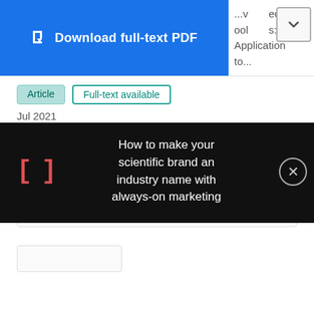[Figure (screenshot): Download full-text PDF button (blue) and partial title with chevron dropdown]
Article  Full-text available
Jul 2021
Romain Laborde · Sravani Teja Bulusu · Ahmad Samer Wazan · Abdelmalek Benzekri
View   Show abstract
How to make your scientific brand an industry name with always-on marketing